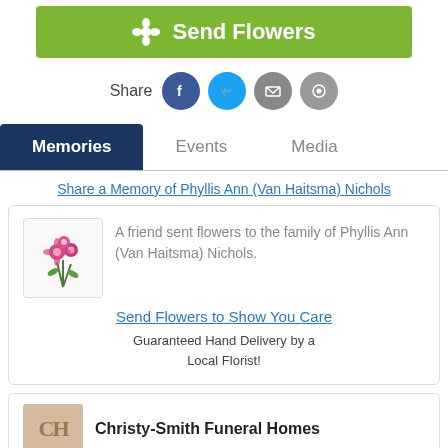[Figure (other): Green 'Send Flowers' button with flower icon]
Share
[Figure (other): Social share icons: Facebook (blue), Twitter (cyan), Email (grey), Message (grey)]
[Figure (other): Navigation tabs: Memories (active, dark blue), Events, Media]
Share a Memory of Phyllis Ann (Van Haitsma) Nichols
[Figure (other): Flower bouquet image in a card]
A friend sent flowers to the family of Phyllis Ann (Van Haitsma) Nichols.
Send Flowers to Show You Care
Guaranteed Hand Delivery by a Local Florist!
Christy-Smith Funeral Homes